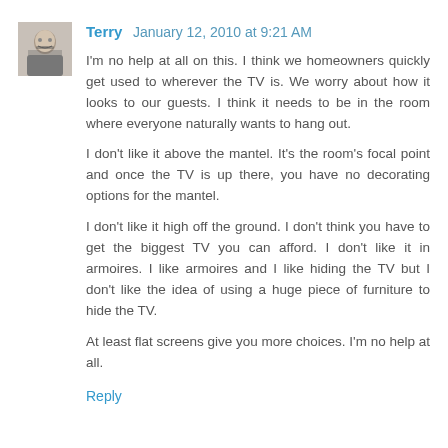[Figure (photo): Avatar photo of a person with gray hair and glasses]
Terry January 12, 2010 at 9:21 AM
I'm no help at all on this. I think we homeowners quickly get used to wherever the TV is. We worry about how it looks to our guests. I think it needs to be in the room where everyone naturally wants to hang out.
I don't like it above the mantel. It's the room's focal point and once the TV is up there, you have no decorating options for the mantel.
I don't like it high off the ground. I don't think you have to get the biggest TV you can afford. I don't like it in armoires. I like armoires and I like hiding the TV but I don't like the idea of using a huge piece of furniture to hide the TV.
At least flat screens give you more choices. I'm no help at all.
Reply